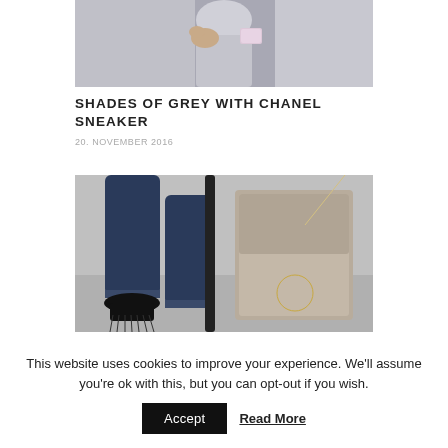[Figure (photo): Fashion photo showing a woman in grey outfit holding a dog, with a small pink Chanel bag, cropped at top of page]
SHADES OF GREY WITH CHANEL SNEAKER
20. NOVEMBER 2016
[Figure (photo): Fashion photo showing cropped legs in dark denim jeans with frayed hem, black fringed shoes, and a taupe Chloe Faye bag with ring detail and chain strap]
This website uses cookies to improve your experience. We'll assume you're ok with this, but you can opt-out if you wish.
Accept   Read More